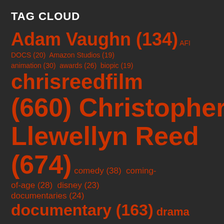TAG CLOUD
Adam Vaughn (134) AFI DOCS (20) Amazon Studios (19) animation (30) awards (26) biopic (19) chrisreedfilm (660) Christopher Llewellyn Reed (674) comedy (38) coming-of-age (28) disney (23) documentaries (24) documentary (163) drama